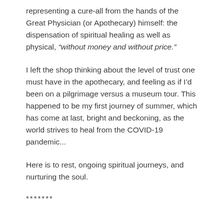representing a cure-all from the hands of the Great Physician (or Apothecary) himself: the dispensation of spiritual healing as well as physical, “without money and without price.”
I left the shop thinking about the level of trust one must have in the apothecary, and feeling as if I’d been on a pilgrimage versus a museum tour. This happened to be my first journey of summer, which has come at last, bright and beckoning, as the world strives to heal from the COVID-19 pandemic...
Here is to rest, ongoing spiritual journeys, and nurturing the soul.
*******